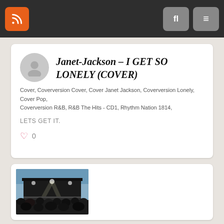Navigation bar with RSS, search, and menu buttons
Janet-Jackson – I GET SO LONELY (COVER)
Cover, Coverversion Cover, Cover Janet Jackson, Coverversion Lonely, Cover Pop, Coverversion R&B, R&B The Hits - CD1, Rhythm Nation 1814,
LETS GET IT.
0
[Figure (photo): Thumbnail image of an outdoor concert stage with crowd in foreground, dark stage with lighting equipment visible]